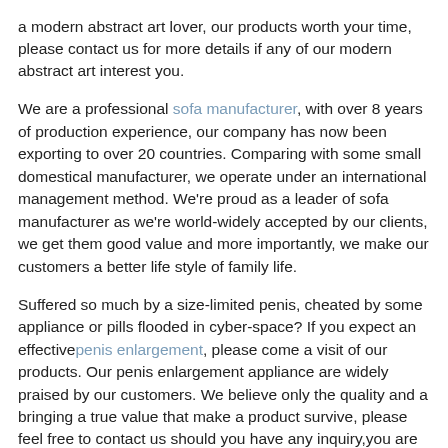a modern abstract art lover, our products worth your time, please contact us for more details if any of our modern abstract art interest you.
We are a professional sofa manufacturer, with over 8 years of production experience, our company has now been exporting to over 20 countries. Comparing with some small domestical manufacturer, we operate under an international management method. We're proud as a leader of sofa manufacturer as we're world-widely accepted by our clients, we get them good value and more importantly, we make our customers a better life style of family life.
Suffered so much by a size-limited penis, cheated by some appliance or pills flooded in cyber-space? If you expect an effective penis enlargement, please come a visit of our products. Our penis enlargement appliance are widely praised by our customers. We believe only the quality and a bringing a true value that make a product survive, please feel free to contact us should you have any inquiry,you are warmly welcomed.
Our great solution have brought confidence and life's happiniess to those man who were suffering a premature ejaculation,please get a visit of our products. Our premature ejactulation medicine are widely praised by